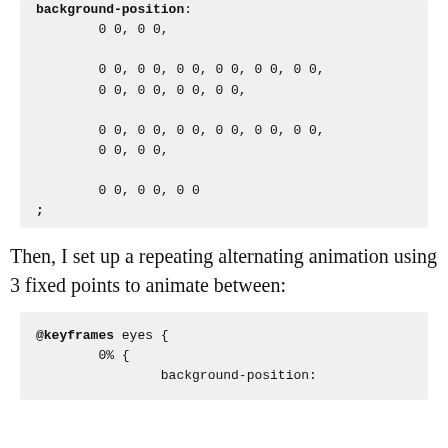background-position:
        0 0, 0 0,
        0 0, 0 0, 0 0, 0 0, 0 0, 0 0,
        0 0, 0 0, 0 0, 0 0,
        0 0, 0 0, 0 0, 0 0, 0 0, 0 0,
        0 0, 0 0,
        0 0, 0 0, 0 0
;
Then, I set up a repeating alternating animation using 3 fixed points to animate between:
@keyframes eyes {
        0% {
                background-position: